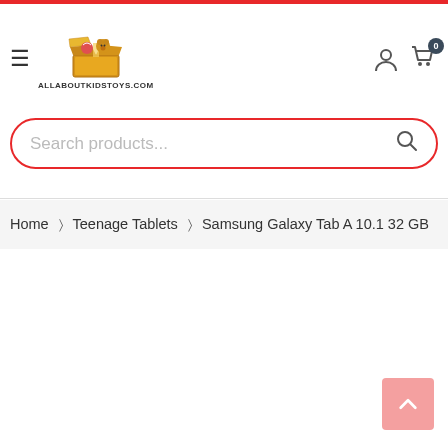[Figure (screenshot): Website header for allaboutkidstoys.com with hamburger menu, logo (toy box image), site name, user icon, and cart icon with 0 items]
[Figure (screenshot): Search bar with red rounded border and placeholder text 'Search products...' with magnifying glass icon]
Home > Teenage Tablets > Samsung Galaxy Tab A 10.1 32 GB